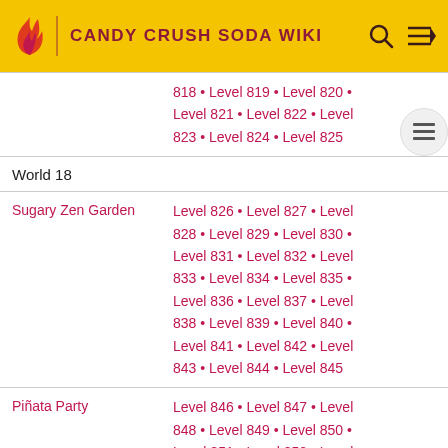CANDY CRUSH SODA WIKI
| Area | Levels |
| --- | --- |
| (continuation) | 818 • Level 819 • Level 820 • Level 821 • Level 822 • Level 823 • Level 824 • Level 825 |
| World 18 |  |
| Sugary Zen Garden | Level 826 • Level 827 • Level 828 • Level 829 • Level 830 • Level 831 • Level 832 • Level 833 • Level 834 • Level 835 • Level 836 • Level 837 • Level 838 • Level 839 • Level 840 • Level 841 • Level 842 • Level 843 • Level 844 • Level 845 |
| Piñata Party | Level 846 • Level 847 • Level 848 • Level 849 • Level 850 • Level 851 • Level 852 • Level 853 • Level 854 • Level 855 • |